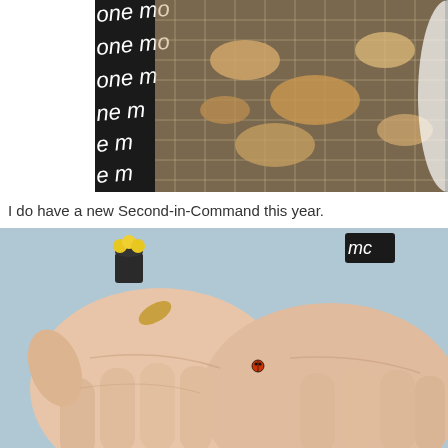[Figure (photo): Close-up photo of what appears to be a net or mesh fabric with organic material (possibly dried insects or seeds) against a black background with white text reading 'one mo' repeated]
I do have a new Second-in-Command this year.
[Figure (photo): Close-up photo of two open human palms held together, with a small red insect (ladybug) visible between the fingers, and a small black pot with yellow flowers visible in the background]